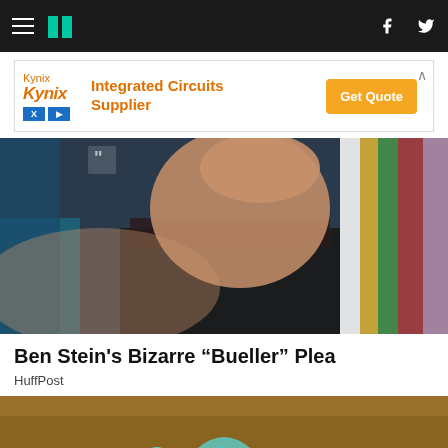HuffPost navigation bar with hamburger menu, logo, Facebook and Twitter icons
[Figure (infographic): Advertisement banner for Kynix Integrated Circuits Supplier with orange Get Quote button]
[Figure (photo): Ben Stein holding hand to forehead, wearing glasses and dark suit, on a colorful studio set background]
Ben Stein's Bizarre “Bueller” Plea
HuffPost
[Figure (photo): Renters Insurance text on an umbrella graphic over a sandy/earthy textured background]